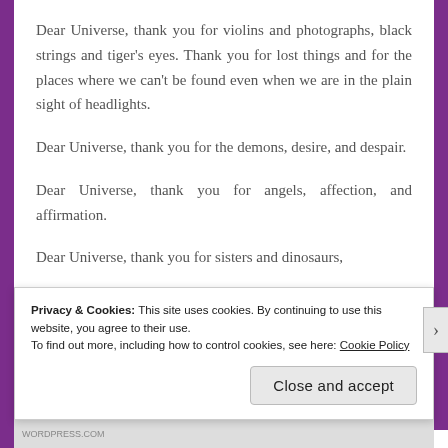Dear Universe, thank you for violins and photographs, black strings and tiger's eyes. Thank you for lost things and for the places where we can't be found even when we are in the plain sight of headlights.
Dear Universe, thank you for the demons, desire, and despair.
Dear Universe, thank you for angels, affection, and affirmation.
Dear Universe, thank you for sisters and dinosaurs,
Privacy & Cookies: This site uses cookies. By continuing to use this website, you agree to their use.
To find out more, including how to control cookies, see here: Cookie Policy